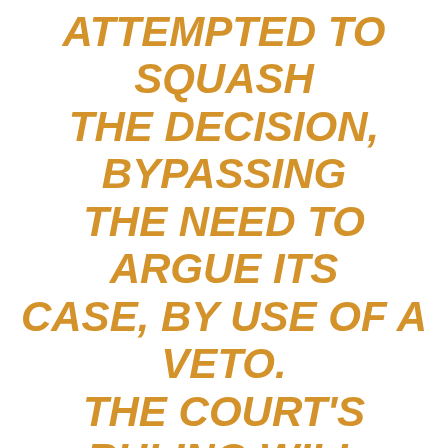ATTEMPTED TO SQUASH THE DECISION, BYPASSING THE NEED TO ARGUE ITS CASE, BY USE OF A VETO. THE COURT'S RULING WILL MAKE IT MUCH HARDER FOR GOVERNMENT TO OVERRIDE A WELL ARGUED TRIBUNAL CASE IN FUTURE.

“DISAGREEING WITH THE DECISION WILL NOT BE